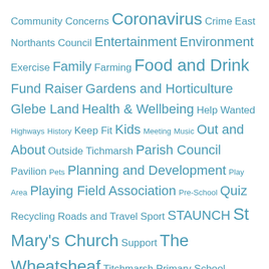[Figure (other): Tag cloud of community topics in varying font sizes, all in steel blue color, on white background. Topics include: Community Concerns, Coronavirus, Crime, East Northants Council, Entertainment, Environment, Exercise, Family, Farming, Food and Drink, Fund Raiser, Gardens and Horticulture, Glebe Land, Health & Wellbeing, Help Wanted, Highways, History, Keep Fit, Kids, Meeting, Music, Out and About, Outside Tichmarsh, Parish Council, Pavilion, Pets, Planning and Development, Play Area, Playing Field Association, Pre-School, Quiz, Recycling, Roads and Travel, Sport, STAUNCH, St Mary's Church, Support, The Wheatsheaf, Titchmarsh Primary School]